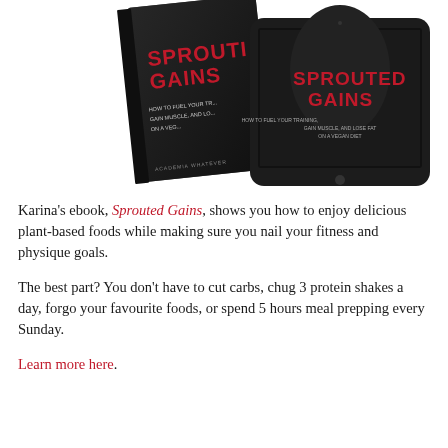[Figure (photo): Book cover and tablet displaying 'Sprouted Gains' ebook — a physical book on the left and a tablet on the right, both showing the dark cover with red title text 'SPROUTED GAINS' and subtitle text about how to fuel training, gain muscle, and lose fat on a vegan diet.]
Karina's ebook, Sprouted Gains, shows you how to enjoy delicious plant-based foods while making sure you nail your fitness and physique goals.
The best part? You don't have to cut carbs, chug 3 protein shakes a day, forgo your favourite foods, or spend 5 hours meal prepping every Sunday.
Learn more here.